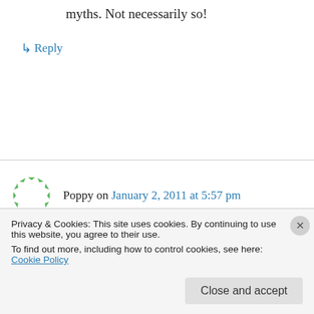myths. Not necessarily so!
↳ Reply
Poppy on January 2, 2011 at 5:57 pm
In regards to number 3, I think part of the problem is that most people don't even notice
Privacy & Cookies: This site uses cookies. By continuing to use this website, you agree to their use.
To find out more, including how to control cookies, see here: Cookie Policy